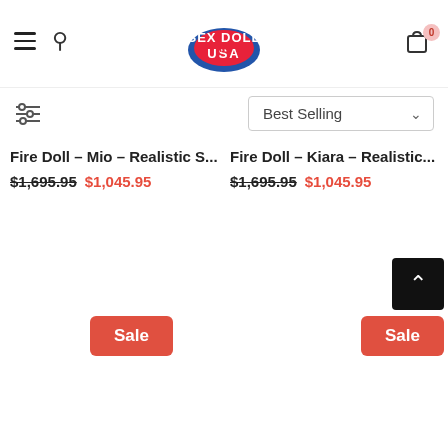Sex Doll USA - navigation header with hamburger menu, search icon, logo, and cart (0 items)
Best Selling
Fire Doll - Mio - Realistic S...
$1,695.95  $1,045.95
Fire Doll - Kiara - Realistic...
$1,695.95  $1,045.95
Sale
Sale